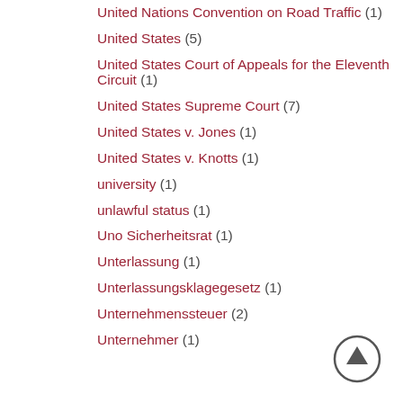United Nations Convention on Road Traffic (1)
United States (5)
United States Court of Appeals for the Eleventh Circuit (1)
United States Supreme Court (7)
United States v. Jones (1)
United States v. Knotts (1)
university (1)
unlawful status (1)
Uno Sicherheitsrat (1)
Unterlassung (1)
Unterlassungsklagegesetz (1)
Unternehmenssteuer (2)
Unternehmer (1)